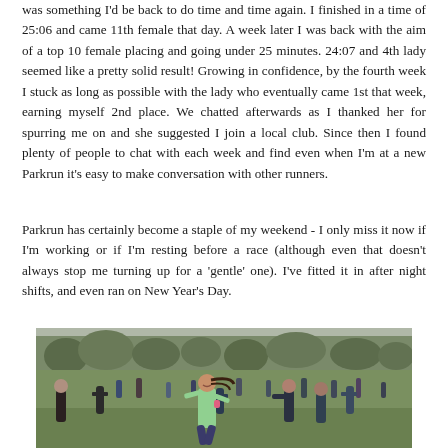was something I'd be back to do time and time again. I finished in a time of 25:06 and came 11th female that day. A week later I was back with the aim of a top 10 female placing and going under 25 minutes. 24:07 and 4th lady seemed like a pretty solid result! Growing in confidence, by the fourth week I stuck as long as possible with the lady who eventually came 1st that week, earning myself 2nd place. We chatted afterwards as I thanked her for spurring me on and she suggested I join a local club. Since then I found plenty of people to chat with each week and find even when I'm at a new Parkrun it's easy to make conversation with other runners.
Parkrun has certainly become a staple of my weekend - I only miss it now if I'm working or if I'm resting before a race (although even that doesn't always stop me turning up for a 'gentle' one). I've fitted it in after night shifts, and even ran on New Year's Day.
[Figure (photo): Group of runners running across a grassy park field, with trees in the background. A woman in a light green top is prominent in the foreground, smiling, with other runners behind her.]